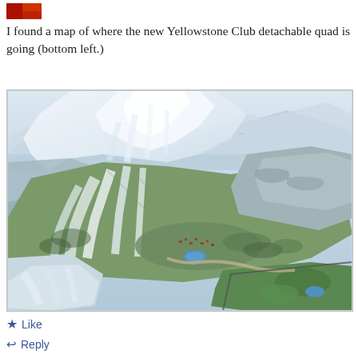[Figure (photo): Small avatar/profile image thumbnail in top left corner, appears to show a red/dark colored image]
I found a map of where the new Yellowstone Club detachable quad is going (bottom left.)
[Figure (map): Aerial/illustrated 3D topographic map of the Yellowstone Club ski resort area showing snow-covered mountains, green valleys, ski runs marked in white, buildings/structures, a golf course area in bottom right, and various labeled features. The bottom left area is indicated as the location of the new detachable quad lift.]
★ Like
↩ Reply